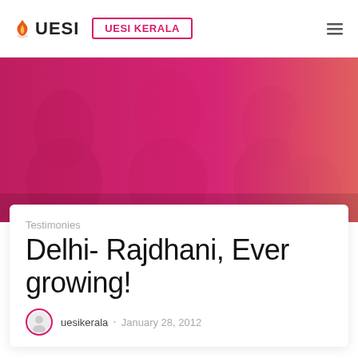UESI   UESI KERALA
[Figure (photo): Group photo of people with pink-to-orange gradient overlay used as hero banner image]
□ □ Testimonies □ Delhi- Rajdhani, Ever growing!
Testimonies
Delhi- Rajdhani, Ever growing!
uesikerala · January 28, 2012